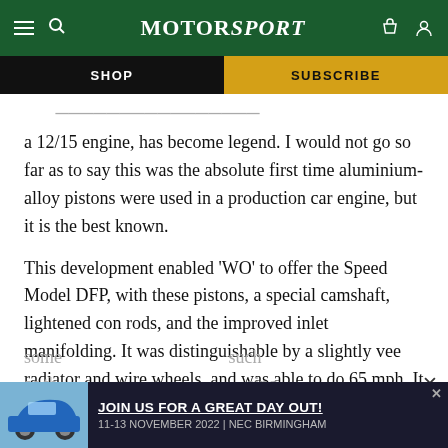MotorSport — SHOP | SUBSCRIBE
a 12/15 engine, has become legend. I would not go so far as to say this was the absolute first time aluminium-alloy pistons were used in a production car engine, but it is the best known.
This development enabled ‘WO’ to offer the Speed Model DFP, with these pistons, a special camshaft, lightened con rods, and the improved inlet manifolding. It was distinguishable by a slightly vee radiator and wire wheels, and was able to do 65 mph. It also enabled him to put up
some ... such as th... eing
[Figure (screenshot): Advertisement banner: JOIN US FOR A GREAT DAY OUT! 11-13 NOVEMBER 2022 | NEC BIRMINGHAM, with a blue Porsche 911 image]